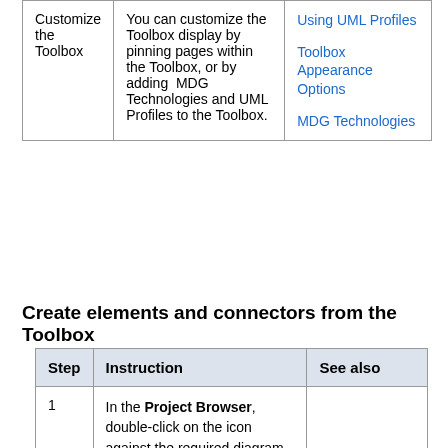|  |  |  |
| --- | --- | --- |
| Customize the Toolbox | You can customize the Toolbox display by pinning pages within the Toolbox, or by adding MDG Technologies and UML Profiles to the Toolbox. | Using UML Profiles
Toolbox Appearance Options
MDG Technologies |
Create elements and connectors from the Toolbox
| Step | Instruction | See also |
| --- | --- | --- |
| 1 | In the Project Browser, double-click on the icon against the required diagram.
The diagram opens with the appropriate Toolbox pages for that diagram type.
If you want a different set of... |  |